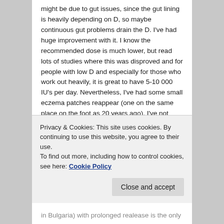might be due to gut issues, since the gut lining is heavily depending on D, so maybe continuous gut problems drain the D. I've had huge improvement with it. I know the recommended dose is much lower, but read lots of studies where this was disproved and for people with low D and especially for those who work out heavily, it is great to have 5-10 000 IU's per day. Nevertheless, I've had some small eczema patches reappear (one on the same place on the foot as 20 years ago). I've not been very consistent taking vitamin D lately, which might be the reason. Meanwhile, reading a lot about the histamines and observing that I have terrible reactions to the aforementioned
Privacy & Cookies: This site uses cookies. By continuing to use this website, you agree to their use.
To find out more, including how to control cookies, see here: Cookie Policy
in Bulgaria) with prolonged realease is the only